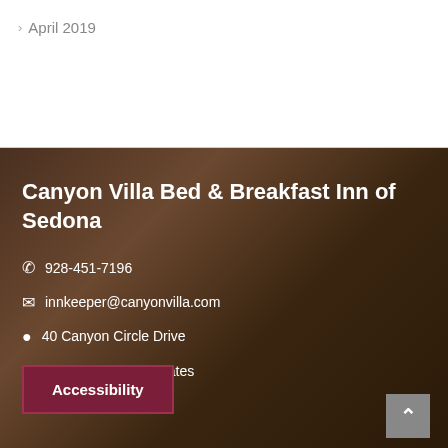April 2019
Canyon Villa Bed & Breakfast Inn of Sedona
928-451-7196
innkeeper@canyonvilla.com
40 Canyon Circle Drive
Sedona, AZ 86351, United States
Accessibility